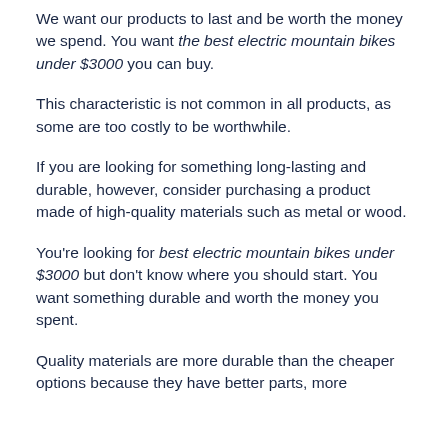We want our products to last and be worth the money we spend. You want the best electric mountain bikes under $3000 you can buy.
This characteristic is not common in all products, as some are too costly to be worthwhile.
If you are looking for something long-lasting and durable, however, consider purchasing a product made of high-quality materials such as metal or wood.
You're looking for best electric mountain bikes under $3000 but don't know where you should start. You want something durable and worth the money you spent.
Quality materials are more durable than the cheaper options because they have better parts, more